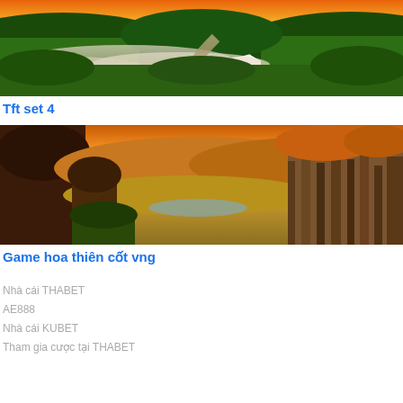[Figure (photo): Aerial landscape photo showing a river winding through dense green forest hills with mist and orange sunset sky]
Tft set 4
[Figure (photo): Landscape photo showing rocky cliff formations with orange/golden hues, trees, and a valley in warm sunset light]
Game hoa thiên cốt vng
Nhà cái THABET
AE888
Nhà cái KUBET
Tham gia cược tại THABET